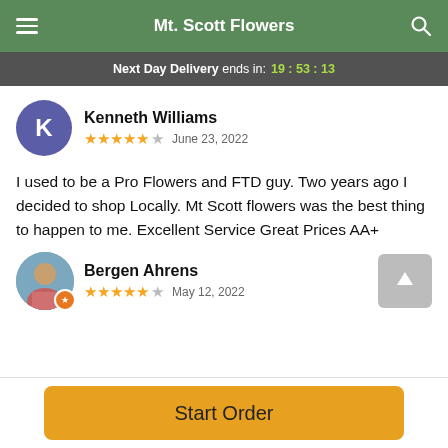Mt. Scott Flowers
Next Day Delivery ends in: 19:53:13
Kenneth Williams
★★★★★ June 23, 2022
I used to be a Pro Flowers and FTD guy. Two years ago I decided to shop Locally. Mt Scott flowers was the best thing to happen to me. Excellent Service Great Prices AA+
Bergen Ahrens
★★★★★ May 12, 2022
Start Order